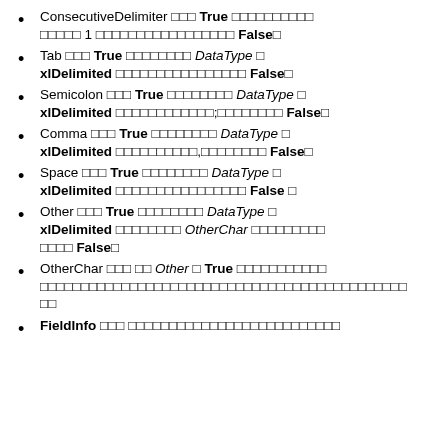ConsecutiveDelimiter ถ้า True จะถือว่าตัวคั่นติดกัน 1 ตัวเป็นตัวคั่นหลายตัว False
Tab ถ้า True จะใช้ Tab เป็น DataType เป็น xlDelimited จะแบ่งข้อมูลด้วย Tab False
Semicolon ถ้า True จะใช้ DataType เป็น xlDelimited จะแบ่งข้อมูลด้วย; แทน False
Comma ถ้า True จะใช้ DataType เป็น xlDelimited จะแบ่งข้อมูลด้วย, แทน False
Space ถ้า True จะใช้ DataType เป็น xlDelimited จะแบ่งข้อมูลด้วยช่องว่าง False
Other ถ้า True จะใช้ DataType เป็น xlDelimited จะใช้ OtherChar เป็นตัวแบ่ง แทน False
OtherChar ถ้า Other เป็น True จะกำหนดอักษรที่ใช้เป็นตัวแบ่งข้อมูล
FieldInfo ใช้ กำหนดชนิดข้อมูล...